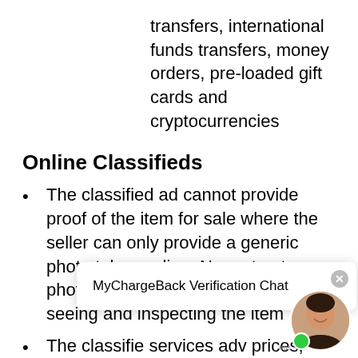transfers, international funds transfers, money orders, pre-loaded gift cards and cryptocurrencies
Online Classifieds
The classified ad cannot provide proof of the item for sale where the seller can only provide a generic photo taken online. Never trust photos alone and always insist on seeing and inspecting the item
The classified [ad offers goods or] services adv[ertised at below market] prices, often lower than comparable websites
The seller claims to be unavailable overseas and insists on payment
[Figure (screenshot): MyChargeBack Verification Chat widget overlay with close button and agent avatar]